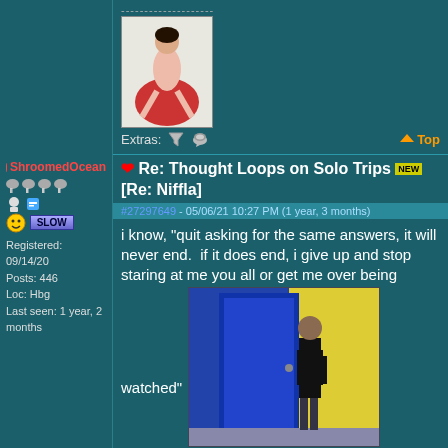[Figure (photo): Previous post with a photo of a person sitting on a red exercise ball, white background]
Extras: [filter icon] [edit icon]   Top
❤ Re: Thought Loops on Solo Trips NEW [Re: Niffla]
#27297649 - 05/06/21 10:27 PM (1 year, 3 months)
ShroomedOcean
Registered: 09/14/20
Posts: 446
Loc: Hbg
Last seen: 1 year, 2 months
i know, "quit asking for the same answers, it will never end.  if it does end, i give up and stop staring at me you all or get me over being
[Figure (photo): Photo of a man walking through a doorway into a yellow-walled room, wearing a black shirt]
watched"
--------------------
https://soundcloud.com/seanmtinney